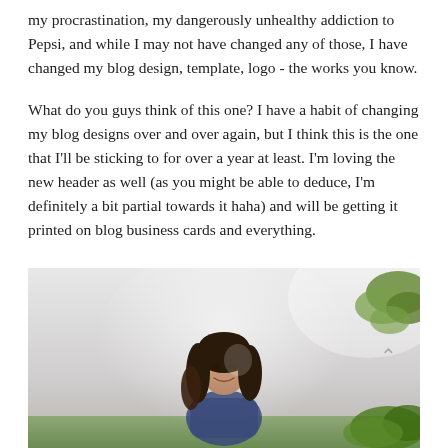my procrastination, my dangerously unhealthy addiction to Pepsi, and while I may not have changed any of those, I have changed my blog design, template, logo - the works you know.
What do you guys think of this one? I have a habit of changing my blog designs over and over again, but I think this is the one that I'll be sticking to for over a year at least. I'm loving the new header as well (as you might be able to deduce, I'm definitely a bit partial towards it haha) and will be getting it printed on blog business cards and everything.
[Figure (photo): A young woman with long dark hair smiling, photographed outdoors with trees visible in the background. The image has a light, airy, slightly overexposed style.]